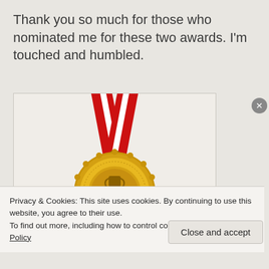Thank you so much for those who nominated me for these two awards. I'm touched and humbled.
[Figure (illustration): A gold award medal with red and white diagonal ribbon/lanyard at top, and the word 'AWARDED' on the medal face with a trophy icon above it. The medal has a decorative scalloped/gear-shaped edge.]
Privacy & Cookies: This site uses cookies. By continuing to use this website, you agree to their use.
To find out more, including how to control cookies, see here: Cookie Policy
Close and accept